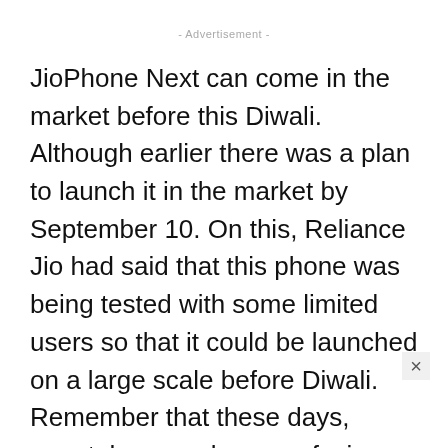- Advertisement -
JioPhone Next can come in the market before this Diwali. Although earlier there was a plan to launch it in the market by September 10. On this, Reliance Jio had said that this phone was being tested with some limited users so that it could be launched on a large scale before Diwali. Remember that these days, smartphone makers are facing a lot of trouble due to the shortage of chips, due to which the production of smartphones is being affected. Some experts also linked the delay of Jio Phone Next to this problem.